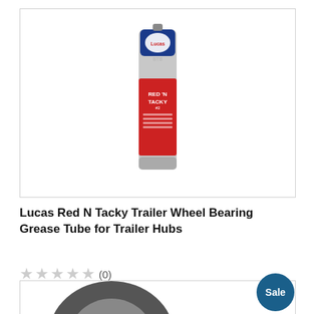[Figure (photo): Product image of Lucas Red N Tacky grease tube with red label, shown against white background inside a bordered box]
Lucas Red N Tacky Trailer Wheel Bearing Grease Tube for Trailer Hubs
★★★★★(0)
$10.63
In Stock
[Figure (photo): Partial view of a second product (wheel/tire related) with a Sale badge in dark blue circle]